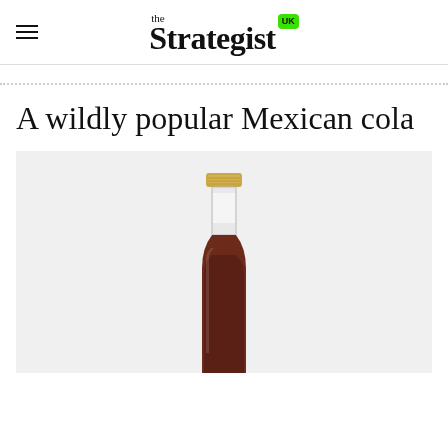the Strategist UK
A wildly popular Mexican cola
[Figure (photo): Top portion of a glass cola bottle with a gold bottle cap, brown cola liquid visible at the bottom, against a light grey background]